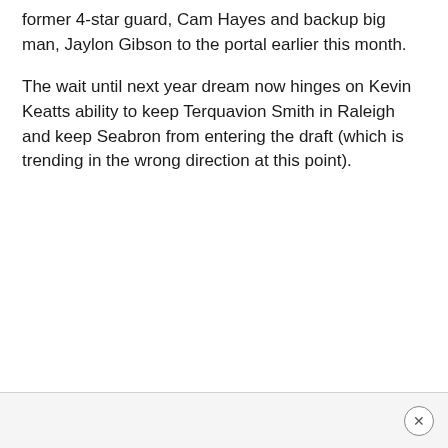former 4-star guard, Cam Hayes and backup big man, Jaylon Gibson to the portal earlier this month.
The wait until next year dream now hinges on Kevin Keatts ability to keep Terquavion Smith in Raleigh and keep Seabron from entering the draft (which is trending in the wrong direction at this point).